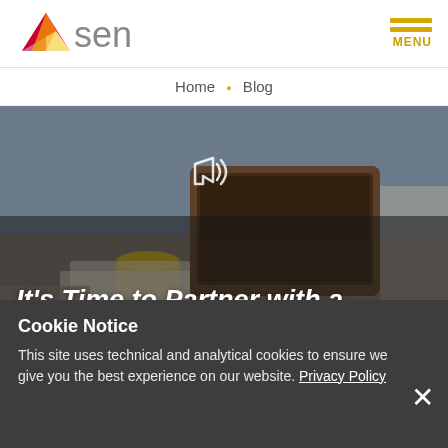[Figure (logo): Asen marketing agency logo - colorful triangle/arrow shape in red, pink, yellow with grey 'Asen' text]
[Figure (other): Menu icon with two yellow horizontal bars and MENU label in yellow]
Home • Blog
[Figure (photo): Photo of people working around a table with laptop, coffee mug, papers. White megaphone icon overlay. Dark overlay on lower portion. Text overlay: It's Time to Partner with a Marketing Agency When]
It's Time to Partner with a Marketing Agency When
Cookie Notice
This site uses technical and analytical cookies to ensure we give you the best experience on our website. Privacy Policy